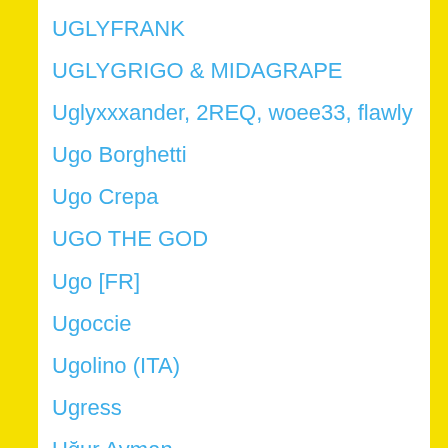UGLYFRANK
UGLYGRIGO & MIDAGRAPE
Uglyxxxander, 2REQ, woee33, flawly
Ugo Borghetti
Ugo Crepa
UGO THE GOD
Ugo [FR]
Ugoccie
Ugolino (ITA)
Ugress
Uğur Ayman
Uğur Etiler
Uğur Yeter
Uh Huh Her